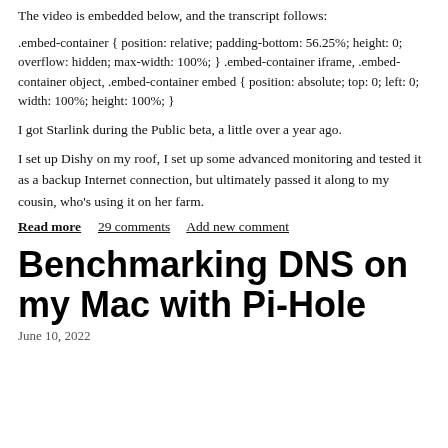The video is embedded below, and the transcript follows:
.embed-container { position: relative; padding-bottom: 56.25%; height: 0; overflow: hidden; max-width: 100%; } .embed-container iframe, .embed-container object, .embed-container embed { position: absolute; top: 0; left: 0; width: 100%; height: 100%; }
I got Starlink during the Public beta, a little over a year ago.
I set up Dishy on my roof, I set up some advanced monitoring and tested it as a backup Internet connection, but ultimately passed it along to my cousin, who's using it on her farm.
Read more   29 comments   Add new comment
Benchmarking DNS on my Mac with Pi-Hole
June 10, 2022